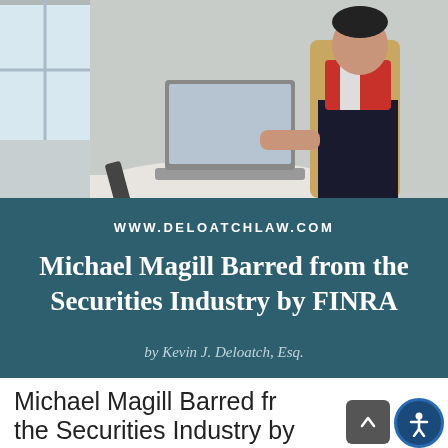[Figure (photo): Person sitting at a round table with a laptop and remote control, viewed from the side in a room with a window]
WWW.DELOATCHLAW.COM
Michael Magill Barred from the Securities Industry by FINRA
by Kevin J. Deloatch, Esq.
Michael Magill Barred from the Securities Industry by